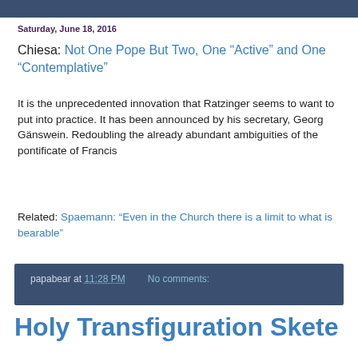Saturday, June 18, 2016
Chiesa: Not One Pope But Two, One “Active” and One “Contemplative”
It is the unprecedented innovation that Ratzinger seems to want to put into practice. It has been announced by his secretary, Georg Gänswein. Redoubling the already abundant ambiguities of the pontificate of Francis
Related: Spaemann: “Even in the Church there is a limit to what is bearable”
papabear at 11:28 PM   No comments:
Holy Transfiguration Skete